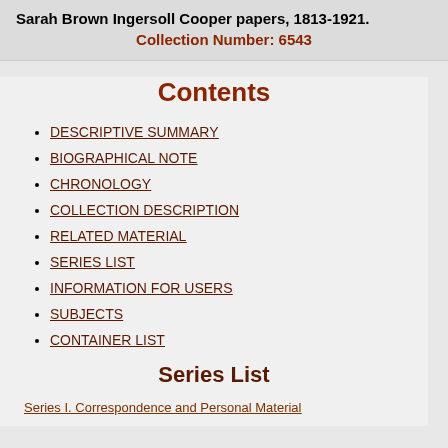Sarah Brown Ingersoll Cooper papers, 1813-1921.
Collection Number: 6543
Contents
DESCRIPTIVE SUMMARY
BIOGRAPHICAL NOTE
CHRONOLOGY
COLLECTION DESCRIPTION
RELATED MATERIAL
SERIES LIST
INFORMATION FOR USERS
SUBJECTS
CONTAINER LIST
Series List
Series I. Correspondence and Personal Material